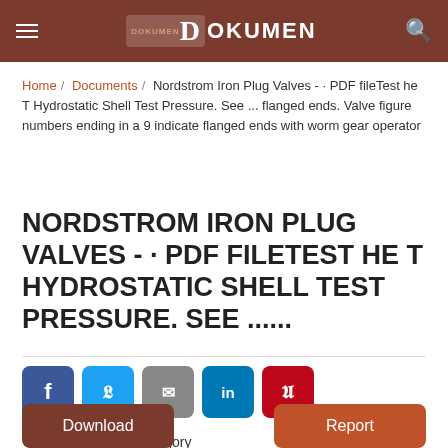DOKUMEN
Home / Documents / Nordstrom Iron Plug Valves - · PDF fileTest he T Hydrostatic Shell Test Pressure. See ... flanged ends. Valve figure numbers ending in a 9 indicate flanged ends with worm gear operator
NORDSTROM IRON PLUG VALVES - · PDF FILETEST HE T HYDROSTATIC SHELL TEST PRESSURE. SEE ......
[Figure (other): Social sharing buttons: Facebook, Twitter, Email, LinkedIn, Pinterest]
View 213   Category Documents
Download   Report